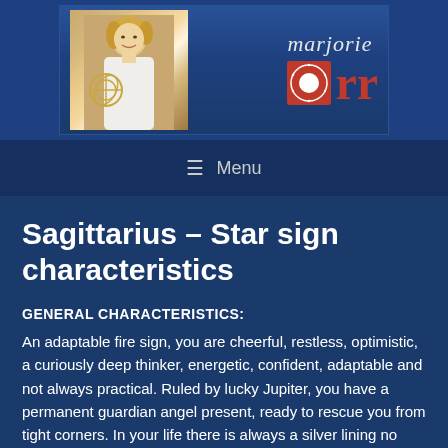[Figure (logo): Marjorie Orr website header banner showing a photo of a woman with an armillary sphere on the left and the 'marjorie orr' logo with a red circular emblem on the right, on a dark blue striped background]
≡  Menu
Sagittarius – Star sign characteristics
GENERAL CHARACTERISTICS:
An adaptable fire sign, you are cheerful, restless, optimistic, a curiously deep thinker, energetic, confident, adaptable and not always practical. Ruled by lucky Jupiter, you have a permanent guardian angel present, ready to rescue you from tight corners. In your life there is always a silver lining no